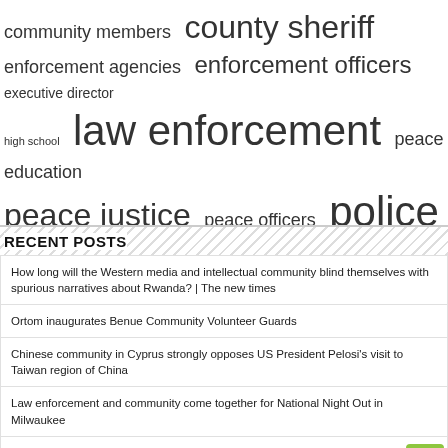[Figure (other): Tag/word cloud with terms related to law enforcement and community: community members, county sheriff, enforcement agencies, enforcement officers, executive director, high school, law enforcement, peace education, peace justice, peace officers, police department, police officer, public safety, sheriff office, social media, united states, young people]
RECENT POSTS
How long will the Western media and intellectual community blind themselves with spurious narratives about Rwanda? | The new times
Ortom inaugurates Benue Community Volunteer Guards
Chinese community in Cyprus strongly opposes US President Pelosi's visit to Taiwan region of China
Law enforcement and community come together for National Night Out in Milwaukee
Loveland man charged with possessing a weapon while under the influence – Loveland